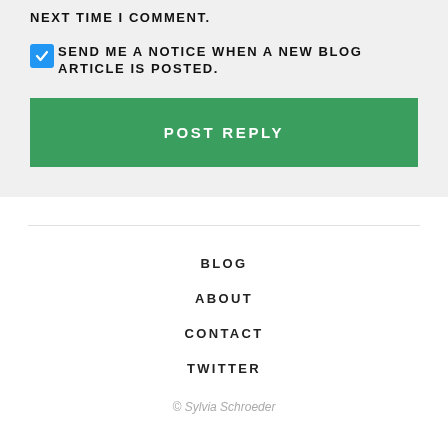NEXT TIME I COMMENT.
SEND ME A NOTICE WHEN A NEW BLOG ARTICLE IS POSTED.
POST REPLY
BLOG
ABOUT
CONTACT
TWITTER
© Sylvia Schroeder